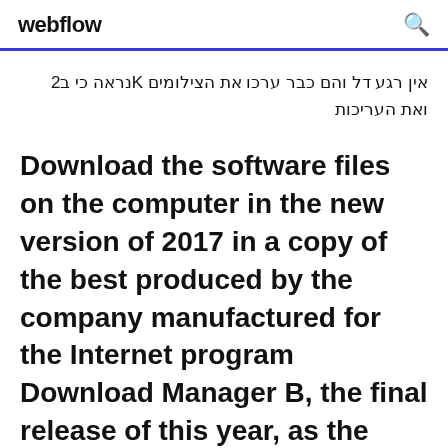webflow
אין רגע דל והם כבר ערכו את הצילומים Kנראה כי ב2 ואת העריכות
Download the software files on the computer in the new version of 2017 in a copy of the best produced by the company manufactured for the Internet program Download Manager B, the final release of this year, as the Internet Download Manager Manager 2017 you can download the best movies that contain high